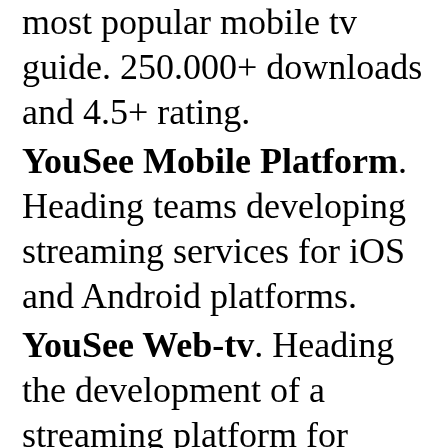most popular mobile tv guide. 250.000+ downloads and 4.5+ rating.
YouSee Mobile Platform. Heading teams developing streaming services for iOS and Android platforms.
YouSee Web-tv. Heading the development of a streaming platform for 1.000 rental movies and 32 live-tv channels.
YouSee Player. Heading development of Adobe Air streaming music client.